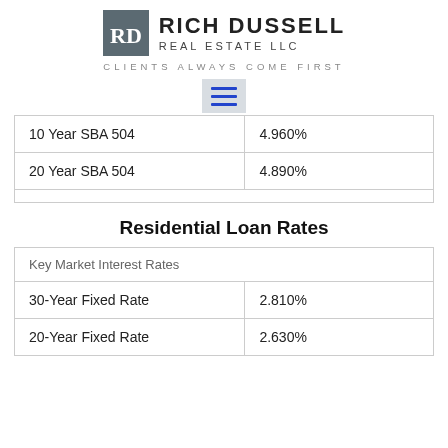Rich Dussell Real Estate LLC — Clients Always Come First
| 10 Year SBA 504 | 4.960% |
| 20 Year SBA 504 | 4.890% |
Residential Loan Rates
| Key Market Interest Rates |  |
| --- | --- |
| 30-Year Fixed Rate | 2.810% |
| 20-Year Fixed Rate | 2.630% |